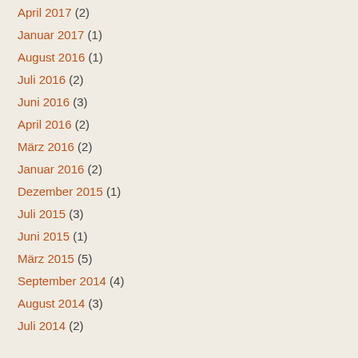April 2017 (2)
Januar 2017 (1)
August 2016 (1)
Juli 2016 (2)
Juni 2016 (3)
April 2016 (2)
März 2016 (2)
Januar 2016 (2)
Dezember 2015 (1)
Juli 2015 (3)
Juni 2015 (1)
März 2015 (5)
September 2014 (4)
August 2014 (3)
Juli 2014 (2)